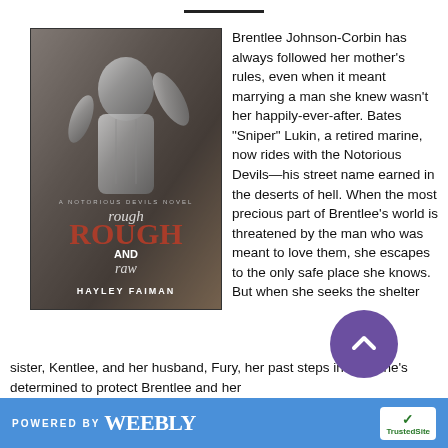[Figure (illustration): Book cover for 'Rough and Raw' by Hayley Faiman, a Notorious Devils Novel, showing a muscular shirtless man in black and white with dark moody background]
Brentlee Johnson-Corbin has always followed her mother's rules, even when it meant marrying a man she knew wasn't her happily-ever-after. Bates "Sniper" Lukin, a retired marine, now rides with the Notorious Devils—his street name earned in the deserts of hell. When the most precious part of Brentlee's world is threatened by the man who was meant to love them, she escapes to the only safe place she knows. But when she seeks the shelter of her sister, Kentlee, and her husband, Fury, her past steps in—and he's determined to protect Brentlee and her
POWERED BY weebly     TrustedSite